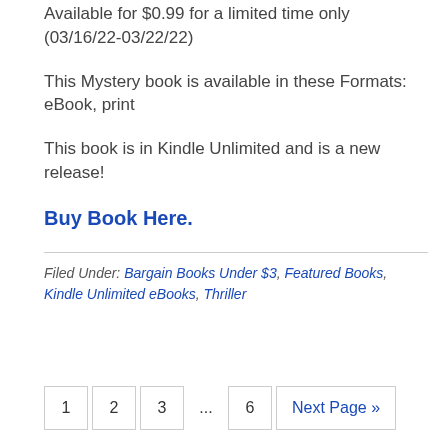Available for $0.99 for a limited time only (03/16/22-03/22/22)
This Mystery book is available in these Formats: eBook, print
This book is in Kindle Unlimited and is a new release!
Buy Book Here.
Filed Under: Bargain Books Under $3, Featured Books, Kindle Unlimited eBooks, Thriller